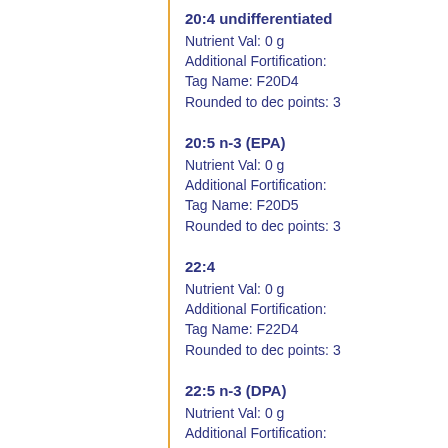20:4 undifferentiated
Nutrient Val: 0 g
Additional Fortification:
Tag Name: F20D4
Rounded to dec points: 3
20:5 n-3 (EPA)
Nutrient Val: 0 g
Additional Fortification:
Tag Name: F20D5
Rounded to dec points: 3
22:4
Nutrient Val: 0 g
Additional Fortification:
Tag Name: F22D4
Rounded to dec points: 3
22:5 n-3 (DPA)
Nutrient Val: 0 g
Additional Fortification:
Tag Name: F22D5
Rounded to dec points: 3
22:6 n-3 (DHA)